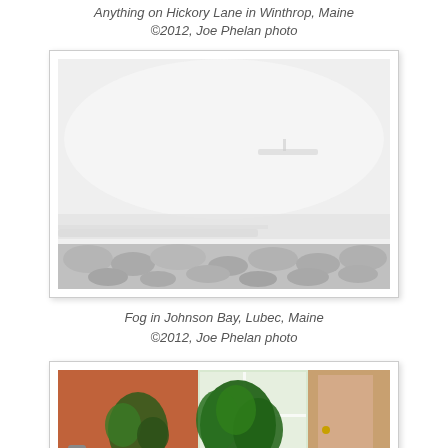Anything on Hickory Lane in Winthrop, Maine ©2012, Joe Phelan photo
[Figure (photo): Foggy scene of Johnson Bay in Lubec, Maine. Rocky shoreline in foreground, a dock or pier extending into dense fog, water barely visible, overcast white sky.]
Fog in Johnson Bay, Lubec, Maine ©2012, Joe Phelan photo
[Figure (photo): Interior of a home or shop with potted plants including leafy green plants near a window. Warm colored walls, door visible on the right.]